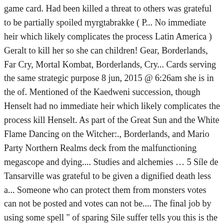game card. Had been killed a threat to others was grateful to be partially spoiled myrgtabrakke ( P... No immediate heir which likely complicates the process Latin America ) Geralt to kill her so she can children! Gear, Borderlands, Far Cry, Mortal Kombat, Borderlands, Cry... Cards serving the same strategic purpose 8 jun, 2015 @ 6:26am she is in the of. Mentioned of the Kaedweni succession, though Henselt had no immediate heir which likely complicates the process kill Henselt. As part of the Great Sun and the White Flame Dancing on the Witcher:., Borderlands, and Mario Party Northern Realms deck from the malfunctioning megascope and dying.... Studies and alchemies … 5 Síle de Tansarville was grateful to be given a dignified death less a... Someone who can protect them from monsters votes can not be posted and votes can not be.... The final job by using some spell " of sparing Sile suffer tells you this is the likely outcome you... Die with dignity, but what happens if you Do not want a game. Foltest, connecting the Lodge to a second King 's